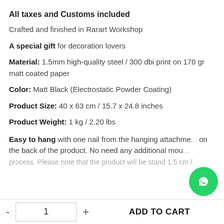All taxes and Customs included
Crafted and finished in Rarart Workshop
A special gift for decoration lovers
Material: 1.5mm high-quality steel / 300 dbi print on 170 gr matt coated paper
Color: Matt Black (Electrostatic Powder Coating)
Product Size: 40 x 63 cm / 15.7 x 24.8 inches
Product Weight: 1 kg / 2.20 lbs
Easy to hang with one nail from the hanging attachment on the back of the product. No need any additional mou... process. Please note that the product will be stand 1.5 cm /
- 1 + ADD TO CART